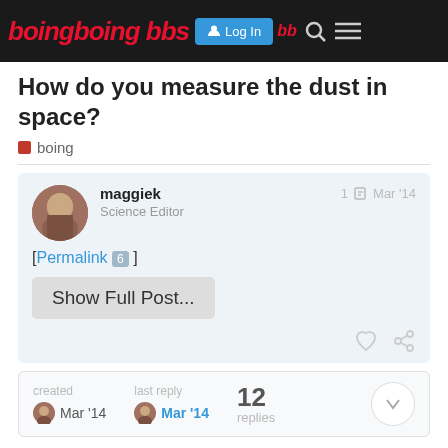boing boing bbs — Log In — bb — Search — Menu
How do you measure the dust in space?
boing
maggiek
Science Editor
1  Mar '14
[ Permalink 6 ]
Show Full Post...
created Mar '14   last reply Mar '14   12 replies